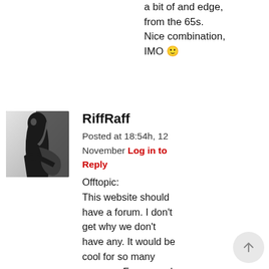a bit of and edge, from the 65s. Nice combination, IMO 🙂
[Figure (photo): Black and white photo of a guitarist playing guitar, long hair, partially cropped]
RiffRaff
Posted at 18:54h, 12 November Log in to Reply
Offtopic:
This website should have a forum. I don't get why we don't have any. It would be cool for so many reasons. For example, im struggling with the